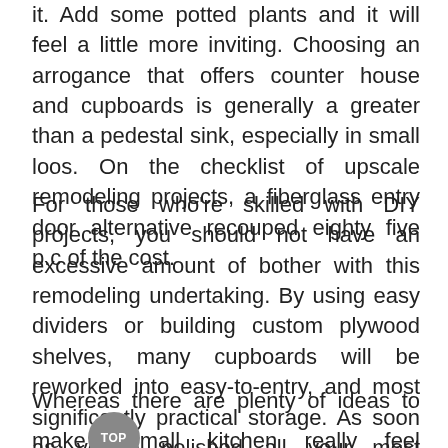it. Add some potted plants and it will feel a little more inviting. Choosing an arrogance that offers counter house and cupboards is generally a greater than a pedestal sink, especially in small loos. On the checklist of upscale remodeling projects, a fiberglass entry door alternative recouped eighty five p.c of the cost.
For those who're skilled with DIY projects, you should not have an excessive amount of bother with this remodeling undertaking. By using easy dividers or building custom plywood shelves, many cupboards will be reworked into easy-to-entry, and most significantly practical storage. As soon as you've polished all your most important rooms, it is time to focus on the connecting areas of your house for a total dwelling transform.
Whereas there are plenty of ideas to make small kitchen really feel massive, a separate entertaining area may give you a spot to keep your whole particular